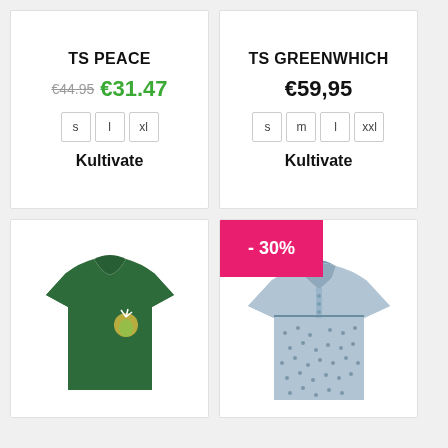TS PEACE
€44.95 €31.47
s  l  xl
Kultivate
TS GREENWHICH
€59,95
s  m  l  xxl
Kultivate
[Figure (photo): Green t-shirt with a small graphic on the chest]
- 30%
[Figure (photo): Light blue polo shirt with small pattern print]